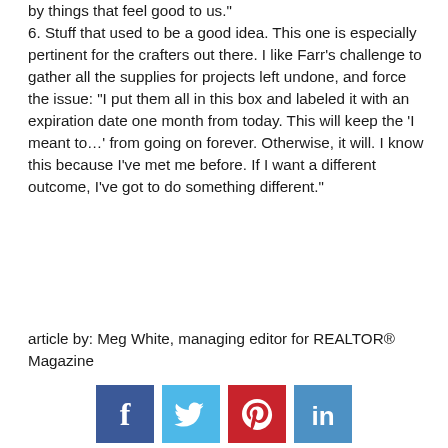by things that feel good to us."
6. Stuff that used to be a good idea. This one is especially pertinent for the crafters out there. I like Farr's challenge to gather all the supplies for projects left undone, and force the issue: "I put them all in this box and labeled it with an expiration date one month from today. This will keep the 'I meant to...' from going on forever. Otherwise, it will. I know this because I've met me before. If I want a different outcome, I've got to do something different."
article by: Meg White, managing editor for REALTOR® Magazine
[Figure (infographic): Four social media share buttons: Facebook (dark blue), Twitter (light blue), Pinterest (red/crimson), LinkedIn (medium blue)]